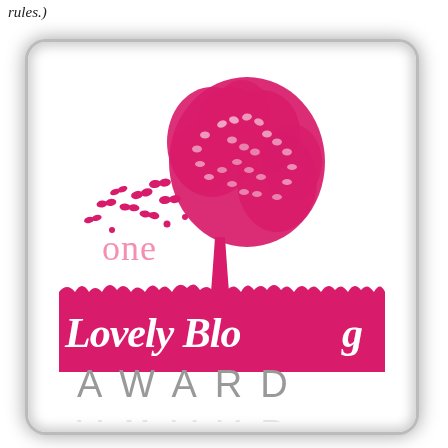rules.)
[Figure (illustration): One Lovely Blog Award badge: a tree made of pink/magenta butterflies with more butterflies flying to the left, the word 'one' in pink below-left of the tree, a pink grass silhouette band with white cursive 'Lovely Blog' text, and 'AWARD' in large spaced gray capital letters below with a reflection, all within a rounded white frame with gray shadow border.]